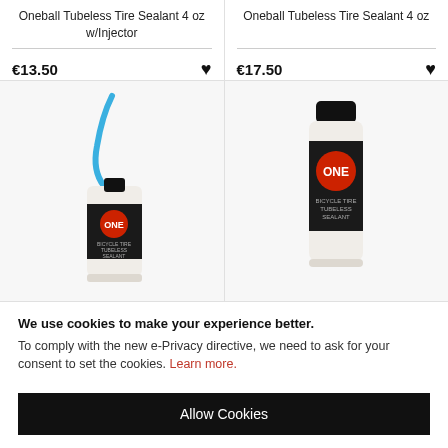Oneball Tubeless Tire Sealant 4 oz w/Injector
Oneball Tubeless Tire Sealant 4 oz
€13.50
€17.50
[Figure (photo): Oneball Tubeless Tire Sealant 4 oz bottle with blue injector tube attached]
[Figure (photo): Oneball Tubeless Tire Sealant 4 oz bottle without injector]
We use cookies to make your experience better. To comply with the new e-Privacy directive, we need to ask for your consent to set the cookies. Learn more.
Allow Cookies